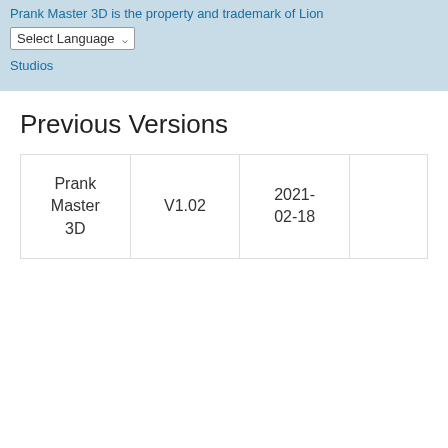Prank Master 3D is the property and trademark of Lion Studios
Previous Versions
| Prank Master 3D | V1.02 | 2021-02-18 |  |